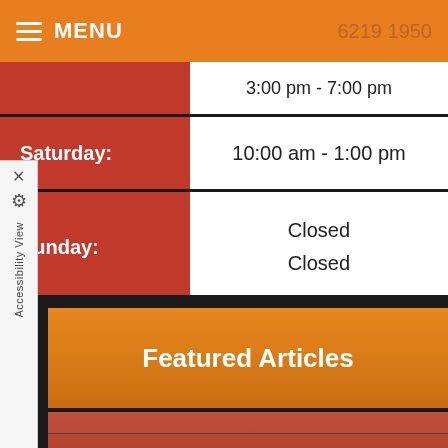MENU   6219 1950
| Day | Hours |
| --- | --- |
|  | 3:00 pm - 7:00 pm |
| Saturday: | 10:00 am - 1:00 pm |
| Sunday: | Closed
Closed |
Featured Articles
Testimonials